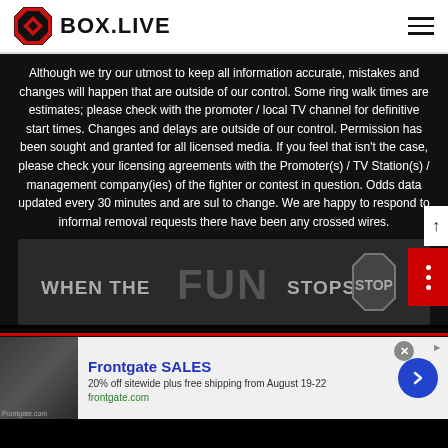BOX.LIVE
Although we try our utmost to keep all information accurate, mistakes and changes will happen that are outside of our control. Some ring walk times are estimates; please check with the promoter / local TV channel for definitive start times. Changes and delays are outside of our control. Permission has been sought and granted for all licensed media. If you feel that isn't the case, please check your licensing agreements with the Promoter(s) / TV Station(s) / management company(ies) of the fighter or contest in question. Odds data updated every 30 minutes and are sub to change. We are happy to respond to informal removal requests there have been any crossed wires.
[Figure (other): WHEN THE FUN STOPS STOP - gambling awareness advertisement banner]
[Figure (other): Frontgate SALES advertisement - 20% off sitewide plus free shipping from August 19-22, frontgate.com]